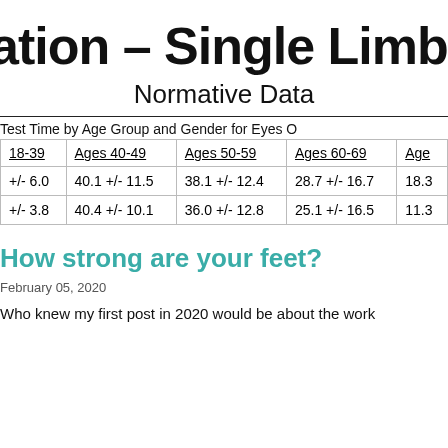ation – Single Limb St
Normative Data
Test Time by Age Group and Gender for Eyes O
| 18-39 | Ages 40-49 | Ages 50-59 | Ages 60-69 | Age |
| --- | --- | --- | --- | --- |
| +/- 6.0 | 40.1 +/- 11.5 | 38.1 +/- 12.4 | 28.7 +/- 16.7 | 18.3 |
| +/- 3.8 | 40.4 +/- 10.1 | 36.0 +/- 12.8 | 25.1 +/- 16.5 | 11.3 |
How strong are your feet?
February 05, 2020
Who knew my first post in 2020 would be about the work